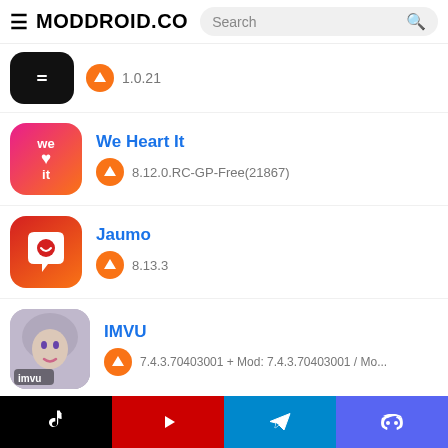MODDROID.CO — Search bar
[Figure (screenshot): Partial app icon (dark/black) with version 1.0.21]
1.0.21
[Figure (screenshot): We Heart It app icon — pink/orange gradient with 'we ♥ it' text]
We Heart It
8.12.0.RC-GP-Free(21867)
[Figure (screenshot): Jaumo app icon — red/orange gradient with heart in speech bubble]
Jaumo
8.13.3
[Figure (screenshot): IMVU app icon — avatar girl with silver/purple hair, 'imvu' text]
IMVU
7.4.3.70403001 + Mod: 7.4.3.70403001 / Mo...
Your Review
TikTok | YouTube | Telegram | Discord